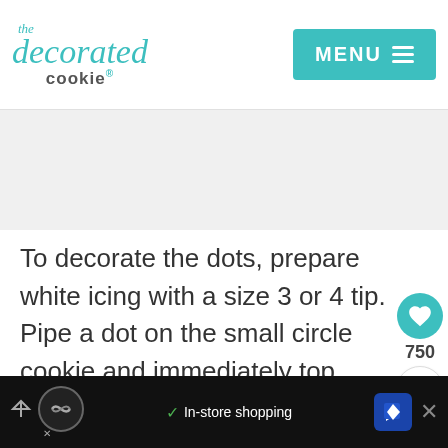the decorated cookie | MENU
[Figure (other): Gray advertisement placeholder banner]
To decorate the dots, prepare white icing with a size 3 or 4 tip. Pipe a dot on the small circle cookie and immediately top with white sprinkles.
[Figure (infographic): Heart/like button with count 750 and share button on right side]
[Figure (other): What's Next widget showing pac man cookies thumbnail]
To decorate Pac Man, outline the shape with yellow icing using a size 3 or 4 tip. Pipe to fill the
[Figure (other): Bottom advertisement bar with shopping icons]